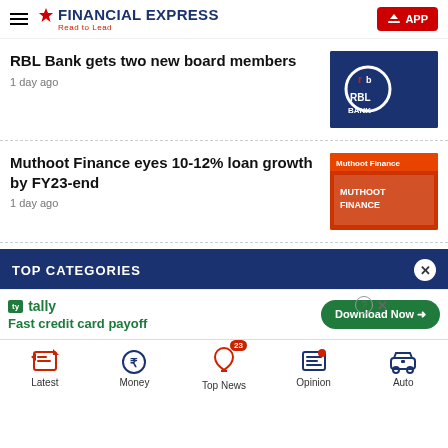Financial Express — Read to Lead
RBL Bank gets two new board members
1 day ago
[Figure (photo): RBL Bank logo on a dark blue sign]
Muthoot Finance eyes 10-12% loan growth by FY23-end
1 day ago
[Figure (photo): Muthoot Finance store front with red signage]
TOP CATEGORIES
[Figure (screenshot): Tally app advertisement — Fast credit card payoff — Download Now button]
Latest | Money | Top News (23) | Opinion | Auto